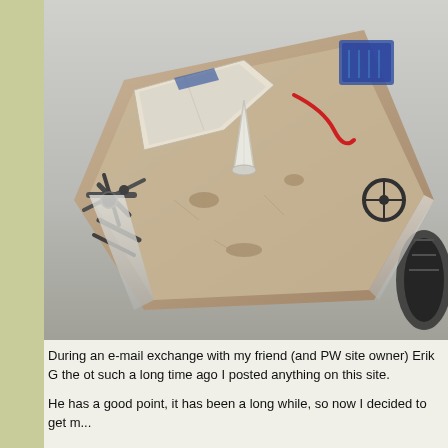[Figure (photo): Top-down angled view of a weathered, rusted open-frame vehicle or machinery (possibly a sci-fi speeder or go-kart type vehicle), showing a flat cargo-like bed with a white cone/funnel object in the center, mechanical arm components on the left side, a steering wheel on the right, various worn metal panels, and what appears to be a blue engine or battery unit at the top right. The background is a neutral gray gradient.]
During an e-mail exchange with my friend (and PW site owner) Erik G the ot such a long time ago I posted anything on this site.
He has a good point, it has been a long while, so now I decided to get m...